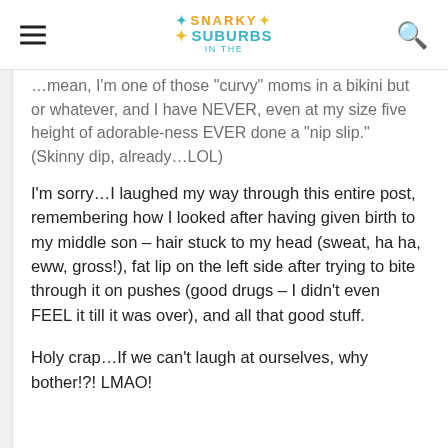Snarky in the Suburbs
...mean, I'm one of those 'curvy' moms in a bikini but or whatever, and I have NEVER, even at my size five height of adorable-ness EVER done a "nip slip." (Skinny dip, already…LOL)
I'm sorry…I laughed my way through this entire post, remembering how I looked after having given birth to my middle son – hair stuck to my head (sweat, ha ha, eww, gross!), fat lip on the left side after trying to bite through it on pushes (good drugs – I didn't even FEEL it till it was over), and all that good stuff.
Holy crap…If we can't laugh at ourselves, why bother!?! LMAO!